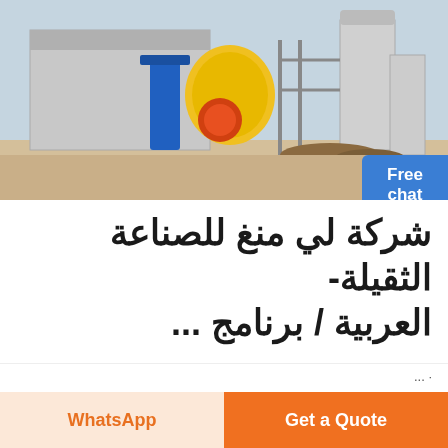[Figure (photo): Industrial concrete batching plant or heavy manufacturing facility with silos, yellow and blue equipment, and outdoor construction area.]
شركة لي منغ للصناعة الثقيلة- العربية / برنامج ...
· طاحونة T130X الدقيقة حلول كاملة سحق وغربلة
WhatsApp
Get a Quote